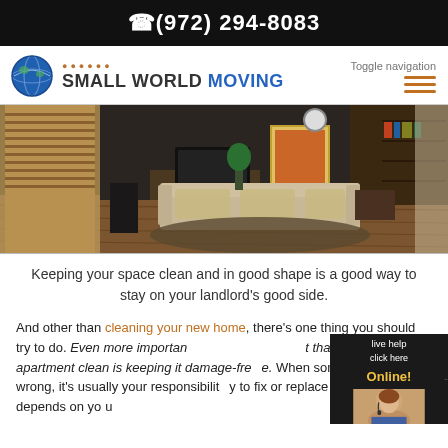(972) 294-8083
[Figure (logo): Small World Moving logo with globe icon and footprints]
[Figure (photo): Interior living room photo with wooden floors, sofa, TV, bookshelf, and blinds]
Keeping your space clean and in good shape is a good way to stay on your landlord's good side.
And other than cleaning your new home, there's one thing you should try to do. Even more important than keeping your apartment clean is keeping it damage-free. When something goes wrong, it's usually your responsibility to fix or replace it. Of course, this depends on you
[Figure (illustration): Live help chat widget showing a woman with headset, 'live help click here Online!' text]